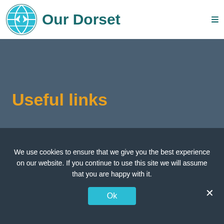Our Dorset
Dorset
Useful links
Adult Social Care
Cancer Matters
We use cookies to ensure that we give you the best experience on our website. If you continue to use this site we will assume that you are happy with it.